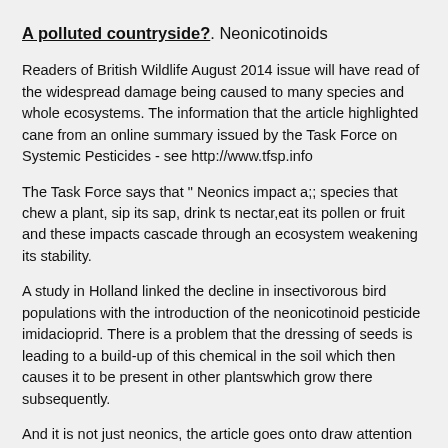A polluted countryside?. Neonicotinoids
Readers of British Wildlife August 2014 issue will have read of the widespread damage being caused to many species and whole ecosystems. The information that the article highlighted cane from an online summary issued by the Task Force on Systemic Pesticides - see http://www.tfsp.info
The Task Force says that " Neonics impact a;; species that chew a plant, sip its sap, drink ts nectar,eat its pollen or fruit and these impacts cascade through an ecosystem weakening its stability.
A study in Holland linked the decline in insectivorous bird populations with the introduction of the neonicotinoid pesticide imidacioprid. There is a problem that the dressing of seeds is leading to a build-up of this chemical in the soil which then causes it to be present in other plantswhich grow there subsequently.
And it is not just neonics, the article goes onto draw attention to problems caused by the growing use of glyphosate. Promoted as being harmless the herbicide has been found to accumulate in human breast milk( upto 1,600 times the level permitted in EU